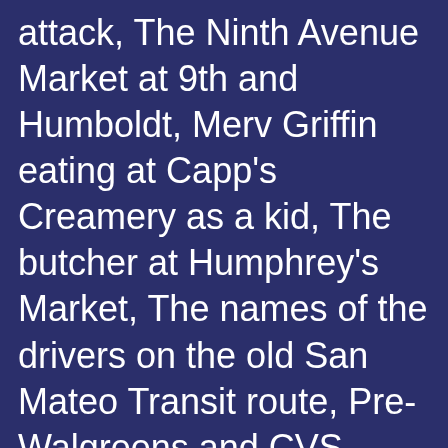attack, The Ninth Avenue Market at 9th and Humboldt, Merv Griffin eating at Capp's Creamery as a kid, The butcher at Humphrey's Market, The names of the drivers on the old San Mateo Transit route, Pre-Walgreens and CVS independent pharmacies and pharmacists like Ralph on 25th, Blum's Bakery and Cafe, Levy Brothers Department Store downtown, Schneider's, Roos/Atkins, The old train station downtown, The smell of popcorn and